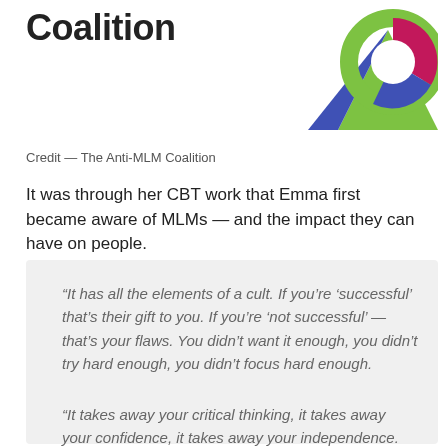[Figure (logo): Anti-MLM Coalition logo: bold text 'Coalition' on left, colorful geometric logo mark (blue triangle, green arc, magenta/blue pie slices) on right]
Credit — The Anti-MLM Coalition
It was through her CBT work that Emma first became aware of MLMs — and the impact they can have on people.
“It has all the elements of a cult. If you’re ‘successful’ that’s their gift to you. If you’re ‘not successful’ — that’s your flaws. You didn’t want it enough, you didn’t try hard enough, you didn’t focus hard enough.
“It takes away your critical thinking, it takes away your confidence, it takes away your independence. That’s one of the most damaging aspects.”